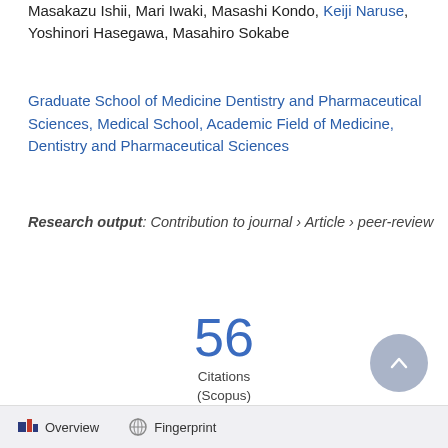Masakazu Ishii, Mari Iwaki, Masashi Kondo, Keiji Naruse, Yoshinori Hasegawa, Masahiro Sokabe
Graduate School of Medicine Dentistry and Pharmaceutical Sciences, Medical School, Academic Field of Medicine, Dentistry and Pharmaceutical Sciences
Research output: Contribution to journal › Article › peer-review
56 Citations (Scopus)
Overview   Fingerprint